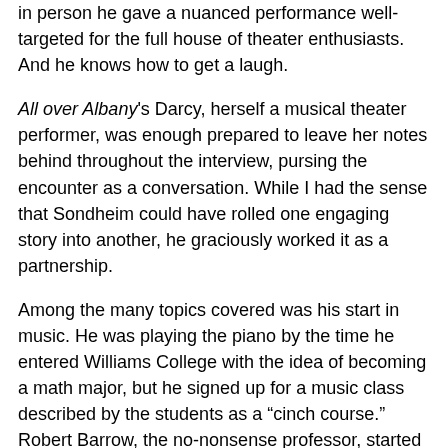in person he gave a nuanced performance well-targeted for the full house of theater enthusiasts. And he knows how to get a laugh.
All over Albany's Darcy, herself a musical theater performer, was enough prepared to leave her notes behind throughout the interview, pursing the encounter as a conversation. While I had the sense that Sondheim could have rolled one engaging story into another, he graciously worked it as a partnership.
Among the many topics covered was his start in music. He was playing the piano by the time he entered Williams College with the idea of becoming a math major, but he signed up for a music class described by the students as a “cinch course.” Robert Barrow, the no-nonsense professor, started off by playing a recording of Debussy’s “La Mer” and asking the students what it sounded like to them. “‘To me,’ he said,” said Sondheim, “‘it sounds like a whole-tone scale.’ He took all the romance out of it, but I felt my blood start to churn and I changed my major to music.”
He could he start to dny with the formidable Milton Babbitt...